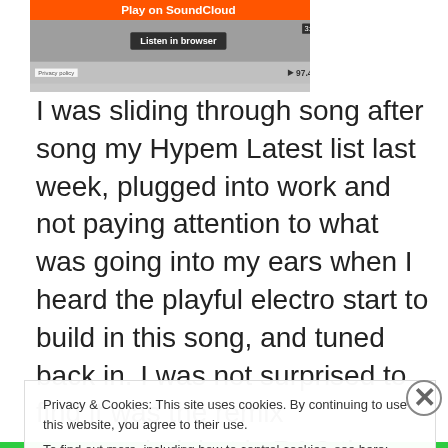[Figure (screenshot): SoundCloud embedded player showing orange 'Play on SoundCloud' button, waveform, 'Listen in browser' button, time 3:38, Privacy policy label, play count 97.4K]
I was sliding through song after song my Hypem Latest list last week, plugged into work and not paying attention to what was going into my ears when I heard the playful electro start to build in this song, and tuned back in. I was not surprised to find it was the remix mastermind that is RAC that caught my ear, but was surprised to find this whole jingle is not original untz but a SONIC remix. I am
Privacy & Cookies: This site uses cookies. By continuing to use this website, you agree to their use.
To find out more, including how to control cookies, see here: Cookie Policy
Close and accept